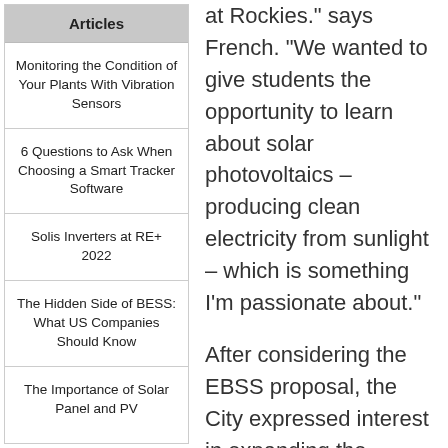Articles
Monitoring the Condition of Your Plants With Vibration Sensors
6 Questions to Ask When Choosing a Smart Tracker Software
Solis Inverters at RE+ 2022
The Hidden Side of BESS: What US Companies Should Know
The Importance of Solar Panel and PV
at Rockies." says French. "We wanted to give students the opportunity to learn about solar photovoltaics – producing clean electricity from sunlight – which is something I'm passionate about."
After considering the EBSS proposal, the City expressed interest in expanding the project, if financially feasible within its limited budget, so the system would be big enough to supply the